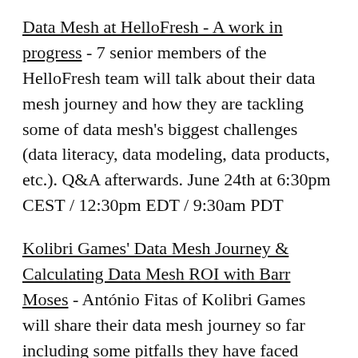Data Mesh at HelloFresh - A work in progress - 7 senior members of the HelloFresh team will talk about their data mesh journey and how they are tackling some of data mesh's biggest challenges (data literacy, data modeling, data products, etc.). Q&A afterwards. June 24th at 6:30pm CEST / 12:30pm EDT / 9:30am PDT
Kolibri Games' Data Mesh Journey & Calculating Data Mesh ROI with Barr Moses - António Fitas of Kolibri Games will share their data mesh journey so far including some pitfalls they have faced along the way. Barr Moses and Scott O'Leary of Monte Carlo will cover calculating the ROI of data mesh and whether data mesh is even right for your organization. Q&A afterwards. July 1st at 6:30pm CEST / 12:30pm EDT / 9:30am PDT